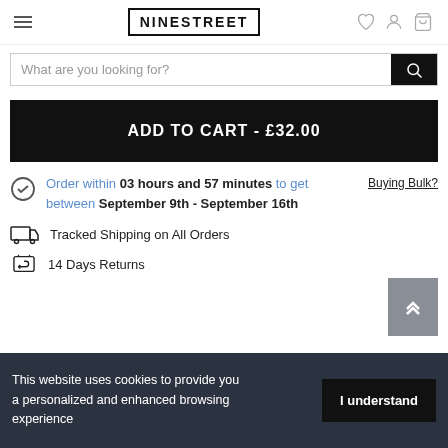NINESTREET
What are you looking for?
ADD TO CART - £32.00
Order within 03 hours and 57 minutes to get between September 9th - September 16th
Buying Bulk?
Tracked Shipping on All Orders
14 Days Returns
This website uses cookies to provide you a personalized and enhanced browsing experience
I understand